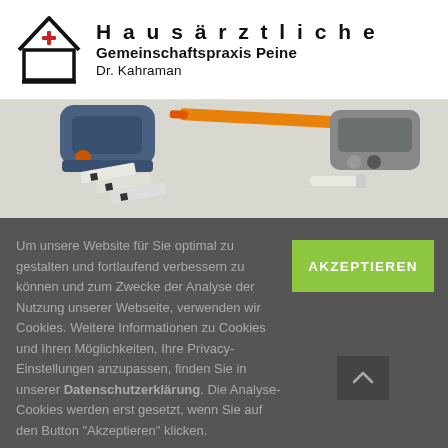Hausärztliche Gemeinschaftspraxis Peine Dr. Kahraman
[Figure (photo): Medical diabetes equipment: insulin syringe, blood glucose meter, test strips and lancet device on white surface]
Um unsere Website für Sie optimal zu gestalten und fortlaufend verbessern zu können und zum Zwecke der Analyse der Nutzung unserer Webseite, verwenden wir Cookies. Weitere Informationen zu Cookies und Ihren Möglichkeiten, Ihre Privacy-Einstellungen anzupassen, finden Sie in unserer Datenschutzerklärung. Die Analyse-Cookies werden erst gesetzt, wenn Sie auf den Button "Akzeptieren" klicken.